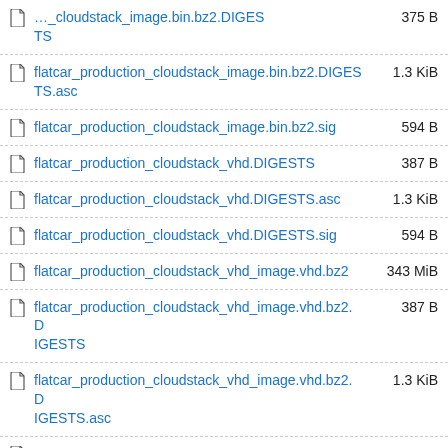flatcar_production_cloudstack_image.bin.bz2.DIGESTS
flatcar_production_cloudstack_image.bin.bz2.DIGESTS.asc
flatcar_production_cloudstack_image.bin.bz2.sig
flatcar_production_cloudstack_vhd.DIGESTS
flatcar_production_cloudstack_vhd.DIGESTS.asc
flatcar_production_cloudstack_vhd.DIGESTS.sig
flatcar_production_cloudstack_vhd_image.vhd.bz2
flatcar_production_cloudstack_vhd_image.vhd.bz2.DIGESTS
flatcar_production_cloudstack_vhd_image.vhd.bz2.DIGESTS.asc
flatcar_production_cloudstack_vhd_image.vhd.bz2.sig
flatcar_production_digitalocean.DIGESTS